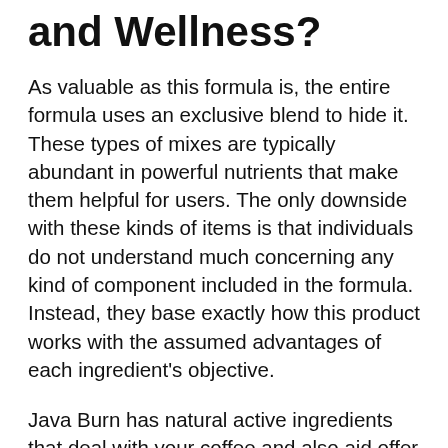and Wellness?
As valuable as this formula is, the entire formula uses an exclusive blend to hide it. These types of mixes are typically abundant in powerful nutrients that make them helpful for users. The only downside with these kinds of items is that individuals do not understand much concerning any kind of component included in the formula. Instead, they base exactly how this product works with the assumed advantages of each ingredient's objective.
Java Burn has natural active ingredients that deal with your coffee and also aid offer fat burning metabolic advantages. However, the